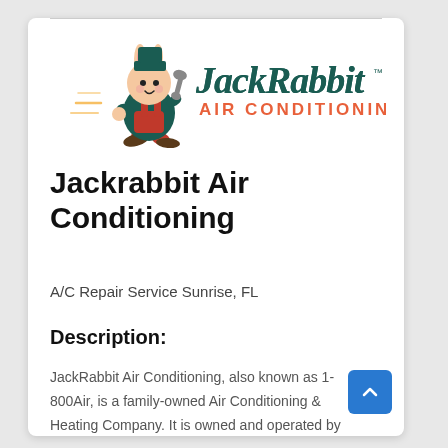[Figure (logo): JackRabbit Air Conditioning logo featuring a cartoon rabbit mechanic holding a wrench, running with speed lines, next to the text JackRabbit in dark teal script and AIR CONDITIONING in salmon/orange capital letters]
Jackrabbit Air Conditioning
A/C Repair Service Sunrise, FL
Description:
JackRabbit Air Conditioning, also known as 1-800Air, is a family-owned Air Conditioning & Heating Company. It is owned and operated by Tony & Elizabeth Neris from Sunrise FL. We went into the Air